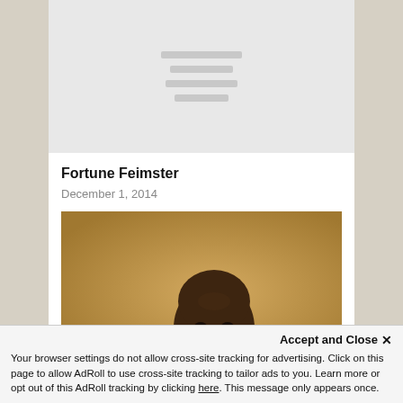[Figure (other): Gray placeholder image with loading lines]
Fortune Feimster
December 1, 2014
[Figure (photo): Photo of a person against a golden/tan background]
Accept and Close ×
Your browser settings do not allow cross-site tracking for advertising. Click on this page to allow AdRoll to use cross-site tracking to tailor ads to you. Learn more or opt out of this AdRoll tracking by clicking here. This message only appears once.